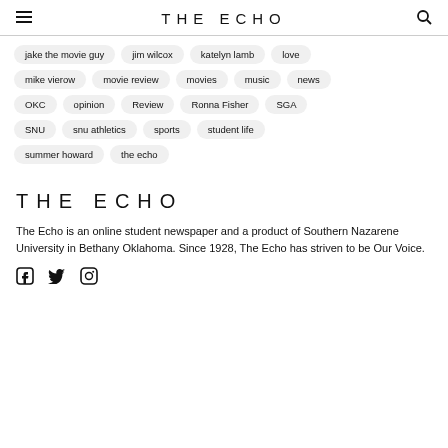THE ECHO
jake the movie guy
jim wilcox
katelyn lamb
love
mike vierow
movie review
movies
music
news
OKC
opinion
Review
Ronna Fisher
SGA
SNU
snu athletics
sports
student life
summer howard
the echo
THE ECHO
The Echo is an online student newspaper and a product of Southern Nazarene University in Bethany Oklahoma. Since 1928, The Echo has striven to be Our Voice.
[Figure (illustration): Social media icons: Facebook, Twitter, Instagram]